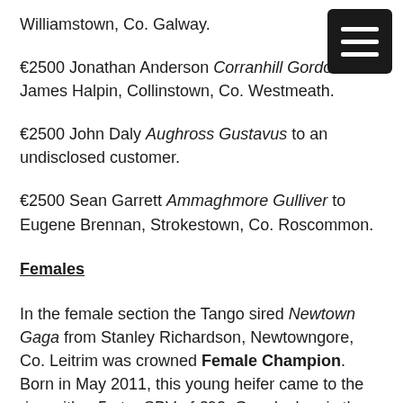Williamstown, Co. Galway.
€2500 Jonathan Anderson Corranhill Gordon to James Halpin, Collinstown, Co. Westmeath.
€2500 John Daly Aughross Gustavus to an undisclosed customer.
€2500 Sean Garrett Ammaghmore Gulliver to Eugene Brennan, Strokestown, Co. Roscommon.
Females
In the female section the Tango sired Newtown Gaga from Stanley Richardson, Newtowngore, Co. Leitrim was crowned Female Champion. Born in May 2011, this young heifer came to the ring with a 5-star SBV of €92. Gaga's dam is the